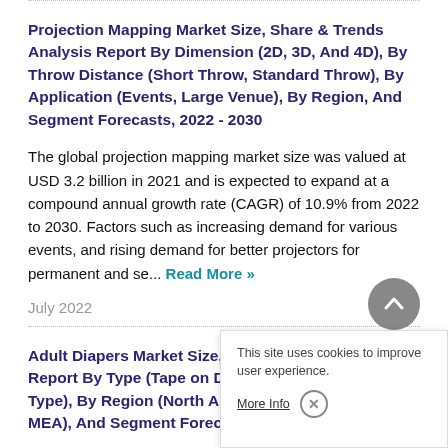Projection Mapping Market Size, Share & Trends Analysis Report By Dimension (2D, 3D, And 4D), By Throw Distance (Short Throw, Standard Throw), By Application (Events, Large Venue), By Region, And Segment Forecasts, 2022 - 2030
The global projection mapping market size was valued at USD 3.2 billion in 2021 and is expected to expand at a compound annual growth rate (CAGR) of 10.9% from 2022 to 2030. Factors such as increasing demand for various events, and rising demand for better projectors for permanent and se... Read More »
July 2022
Adult Diapers Market Size, S... Report By Type (Tape on Dia... Type), By Region (North Am... MEA), And Segment Forecasts, 2019 - 2025